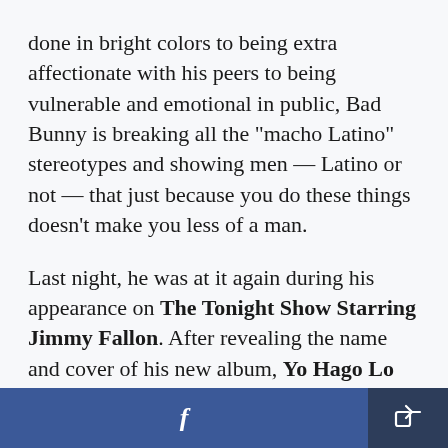done in bright colors to being extra affectionate with his peers to being vulnerable and emotional in public, Bad Bunny is breaking all the "macho Latino" stereotypes and showing men — Latino or not — that just because you do these things doesn't make you less of a man.
Last night, he was at it again during his appearance on The Tonight Show Starring Jimmy Fallon. After revealing the name and cover of his new album, Yo Hago Lo Que Me Da La Gana, and
[Figure (screenshot): Social sharing footer bar with Facebook button (blue, left) and share/forward button (dark blue, right)]